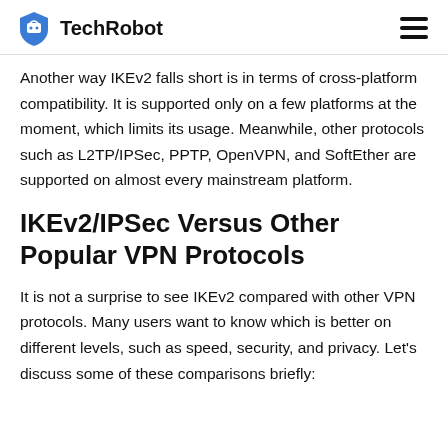TechRobot
Another way IKEv2 falls short is in terms of cross-platform compatibility. It is supported only on a few platforms at the moment, which limits its usage. Meanwhile, other protocols such as L2TP/IPSec, PPTP, OpenVPN, and SoftEther are supported on almost every mainstream platform.
IKEv2/IPSec Versus Other Popular VPN Protocols
It is not a surprise to see IKEv2 compared with other VPN protocols. Many users want to know which is better on different levels, such as speed, security, and privacy. Let's discuss some of these comparisons briefly: